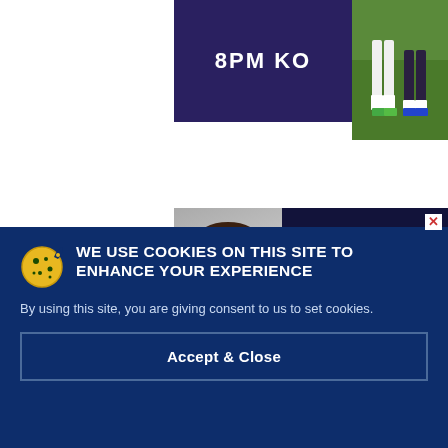[Figure (screenshot): Top strip showing dark navy panel with '8PM KO' text in white bold uppercase, and a football/soccer match photo showing players' legs on grass]
[Figure (photo): Marc Darcy advertisement banner showing a man in suit on left and gold heraldic crest logo with 'MARC DARCY' brand name on dark navy background, with a close X button]
WE USE COOKIES ON THIS SITE TO ENHANCE YOUR EXPERIENCE
By using this site, you are giving consent to us to set cookies.
Accept & Close